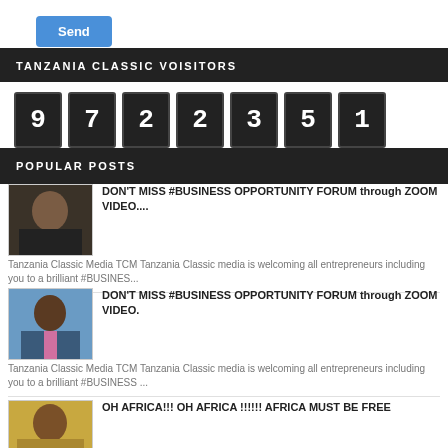Send
TANZANIA CLASSIC VOISITORS
[Figure (other): Visitor counter showing digits: 9 7 2 2 3 5 1]
POPULAR POSTS
DON'T MISS #BUSINESS OPPORTUNITY FORUM through ZOOM VIDEO.... Tanzania Classic Media TCM Tanzania Classic media is welcoming all entrepreneurs including you to a brilliant #BUSINES...
DON'T MISS #BUSINESS OPPORTUNITY FORUM through ZOOM VIDEO. Tanzania Classic Media TCM Tanzania Classic media is welcoming all entrepreneurs including you to a brilliant #BUSINESS ...
OH AFRICA!!! OH AFRICA !!!!!! AFRICA MUST BE FREE